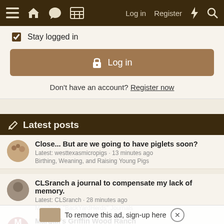Navigation bar with menu, home, chat, grid icons, Log in, Register, lightning, search
Stay logged in
Log in
Don't have an account? Register now
Latest posts
Close... But are we going to have piglets soon?
Latest: westtexasmicropigs · 13 minutes ago
Birthing, Weaning, and Raising Young Pigs
CLSranch a journal to compensate my lack of memory.
Latest: CLSranch · 28 minutes ago
Member's "BackYardHerds" Journals
Margali's Griffin Wood Ranch
Latest: Margali · Today at 12:21 PM
Member's "BackYardHerds" Journals
To remove this ad, sign-up here